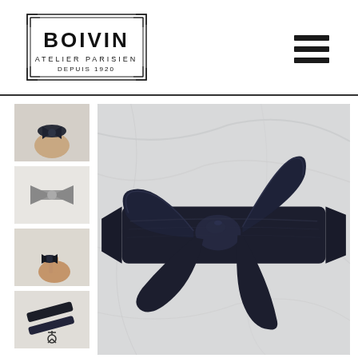[Figure (logo): Boivin Atelier Parisien Depuis 1920 logo with decorative rectangular border]
[Figure (other): Hamburger menu icon with three horizontal bars]
[Figure (photo): Thumbnail: hand wearing dark navy leather bow bracelet]
[Figure (photo): Thumbnail: grey leather bow accessory laid flat]
[Figure (photo): Thumbnail: hand wearing dark leather bow bracelet]
[Figure (photo): Thumbnail: two dark leather strap pieces laid flat]
[Figure (photo): Main large photo: dark navy leather tied bow accessory on marble surface]